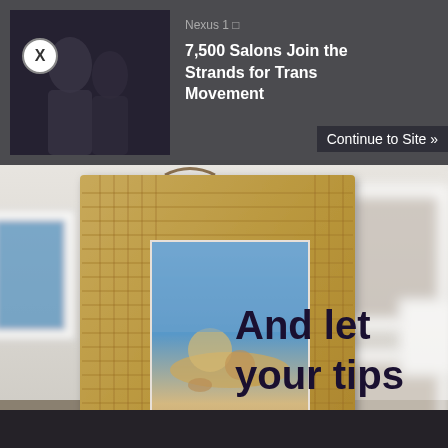[Figure (screenshot): A screenshot of a webpage with a dark overlay advertisement banner at top showing a news headline '7,500 Salons Join the Strands for Trans Movement' with a thumbnail of people, a close button (X), and a 'Continue to Site »' link. The main background is a photo of a wicker-framed picture hanging on a white gallery wall with multiple white-framed photos. Bold dark text overlaid on the right side reads 'And let your tips'.]
And let your tips
7,500 Salons Join the Strands for Trans Movement
Continue to Site »